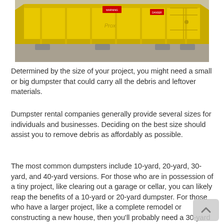[Figure (photo): A large yellow dumpster/roll-off container photographed from the side, sitting on a gravel surface.]
Determined by the size of your project, you might need a small or big dumpster that could carry all the debris and leftover materials.
Dumpster rental companies generally provide several sizes for individuals and businesses. Deciding on the best size should assist you to remove debris as affordably as possible.
The most common dumpsters include 10-yard, 20-yard, 30-yard, and 40-yard versions. For those who are in possession of a tiny project, like clearing out a garage or cellar, you can likely reap the benefits of a 10-yard or 20-yard dumpster. For those who have a larger project, like a complete remodel or constructing a new house, then you'll probably need a 30-yard or 40-yard dumpster.